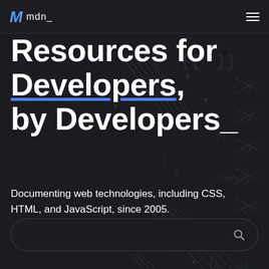MDN mdn_
Resources for Developers, by Developers_
Documenting web technologies, including CSS, HTML, and JavaScript, since 2005.
[Figure (screenshot): Search input bar with a magnifying glass icon, dark background, rounded pill shape]